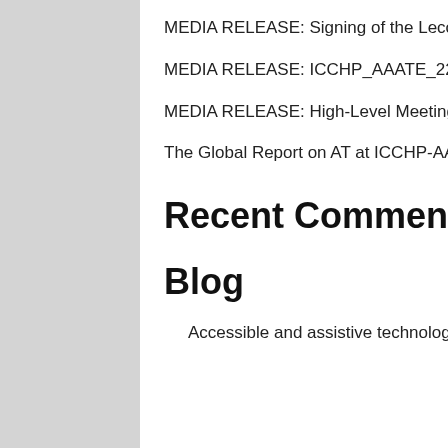MEDIA RELEASE: Signing of the Lecco Declaration
MEDIA RELEASE: ICCHP_AAATE_22 kicking off in Lecco
MEDIA RELEASE: High-Level Meeting on accessible transport in Lecco
The Global Report on AT at ICCHP-AAATE 2022
Recent Comments
Blog
Accessible and assistive technology resources and supports for Ukraine an